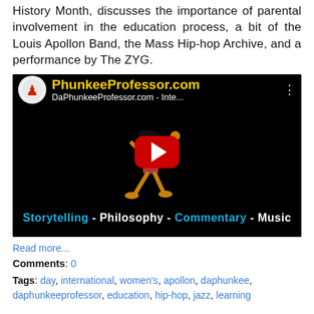History Month, discusses the importance of parental involvement in the education process, a bit of the Louis Apollon Band, the Mass Hip-hop Archive, and a performance by The ZYG.
[Figure (screenshot): YouTube video thumbnail for DaPhunkeeProfessor.com featuring an animated character dancing on a black background. Top bar shows logo and video title 'DaPhunkeeProfessor.com - Inte...' with site name in gold. Bottom bar reads 'Storytelling - Philosophy - Commentary - Music' with cyan/white text. Red play button in center.]
Read more...
Comments: 0
Tags: day, international, women's, apollon, daphunkee, daphunkeeprofessor, education, hip-hop, jazz, learning